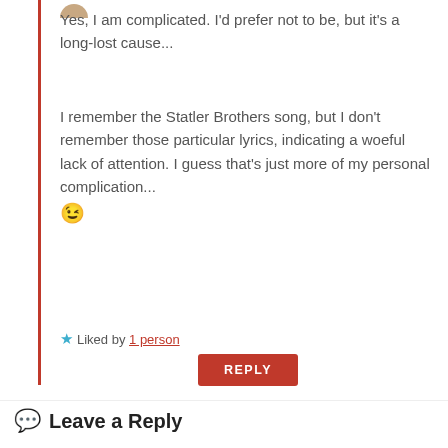Yes, I am complicated. I'd prefer not to be, but it's a long-lost cause...
I remember the Statler Brothers song, but I don't remember those particular lyrics, indicating a woeful lack of attention. I guess that's just more of my personal complication... 😉
★ Liked by 1 person
REPLY
Leave a Reply
Your email address will not be published. Required fields are marked *